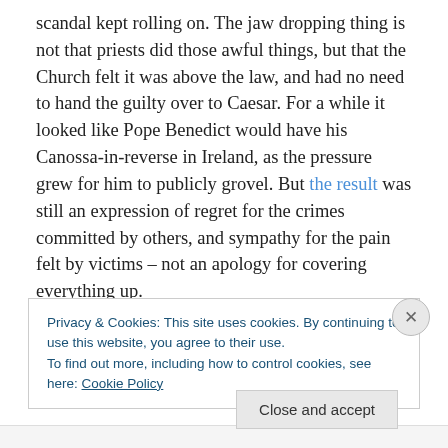scandal kept rolling on. The jaw dropping thing is not that priests did those awful things, but that the Church felt it was above the law, and had no need to hand the guilty over to Caesar. For a while it looked like Pope Benedict would have his Canossa-in-reverse in Ireland, as the pressure grew for him to publicly grovel. But the result was still an expression of regret for the crimes committed by others, and sympathy for the pain felt by victims – not an apology for covering everything up.
Meanwhile it seems, the same US states that legislate for
Privacy & Cookies: This site uses cookies. By continuing to use this website, you agree to their use.
To find out more, including how to control cookies, see here: Cookie Policy